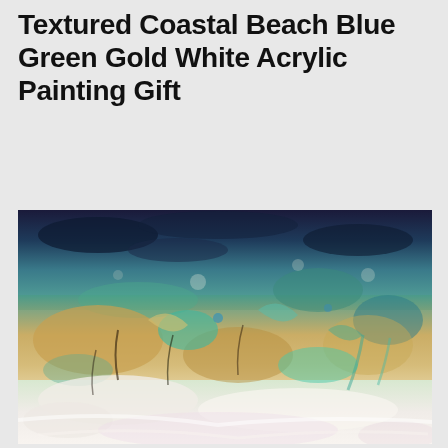Textured Coastal Beach Blue Green Gold White Acrylic Painting Gift
[Figure (photo): A textured acrylic painting depicting a coastal beach scene with dark blue at the top transitioning through teal and green to gold/sandy tones in the middle, with white and pale tones at the bottom, featuring heavy texture and impasto technique.]